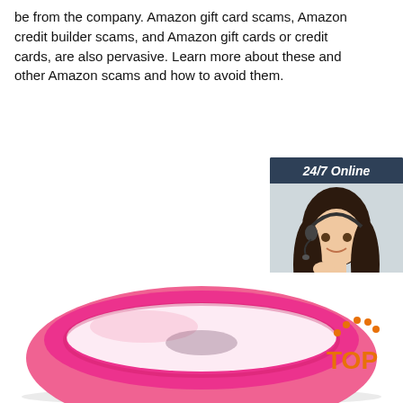be from the company. Amazon gift card scams, Amazon credit builder scams, and Amazon gift cards or credit cards, are also pervasive. Learn more about these and other Amazon scams and how to avoid them.
[Figure (other): Orange 'Get Price' button]
[Figure (infographic): 24/7 Online chat advertisement box with woman wearing headset, 'Click here for free chat!' text, and orange 'QUOTATION' button]
[Figure (photo): Pink silicone wristband/bracelet photographed from above on white background]
[Figure (logo): Orange 'TOP' badge logo with dotted arc above]